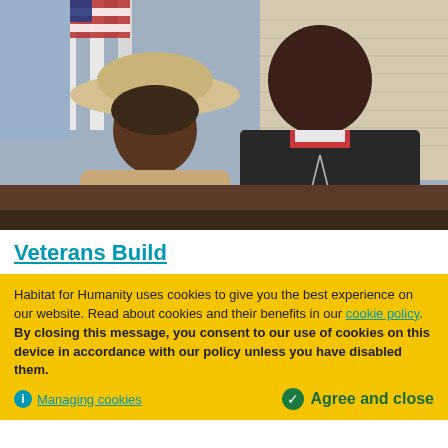[Figure (photo): Two people smiling together outdoors in front of a house with an American flag. An elderly woman wearing a wide-brim hat and beige jacket sits next to a taller man in a dark sweater wearing a cross necklace.]
Veterans Build
Habitat for Humanity uses cookies to give you the best experience on our website. Read about cookies and their benefits in our cookie policy. By closing this message, you consent to our use of cookies on this device in accordance with our policy unless you have disabled them.
Managing cookies
Agree and close